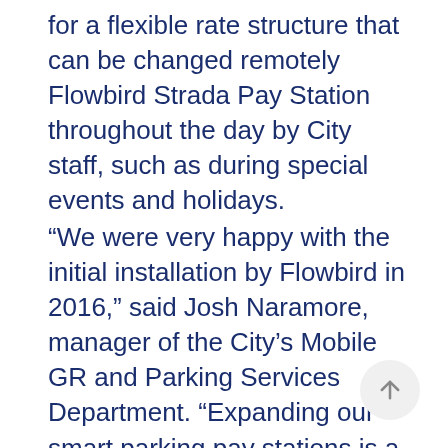for a flexible rate structure that can be changed remotely Flowbird Strada Pay Station throughout the day by City staff, such as during special events and holidays.
“We were very happy with the initial installation by Flowbird in 2016,” said Josh Naramore, manager of the City’s Mobile GR and Parking Services Department. “Expanding our smart parking pay stations is a natural progression toward our goal of having a world-class transportation and mobility ecosystem.”